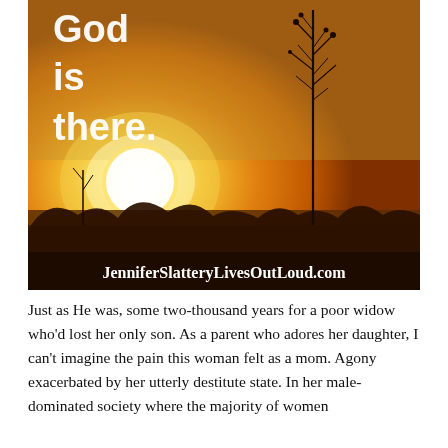[Figure (photo): Sunset photo with silhouetted plants/tree against warm golden-orange sky with bright sun glowing on left. White text overlay reads 'God is there.' and website 'JenniferSlatteryLivesOutLoud.com' at bottom.]
Just as He was, some two-thousand years for a poor widow who'd lost her only son. As a parent who adores her daughter, I can't imagine the pain this woman felt as a mom. Agony exacerbated by her utterly destitute state. In her male-dominated society where the majority of women